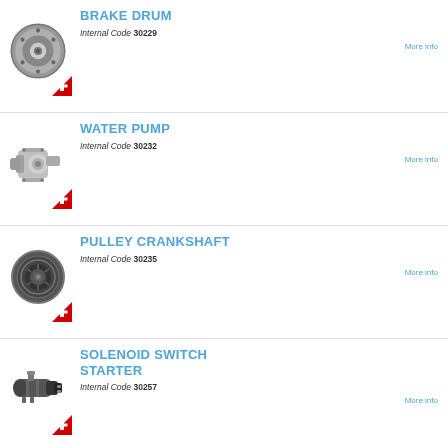[Figure (illustration): Brake drum automotive part with Swiss flag badge]
BRAKE DRUM
Internal Code 30229
More info
[Figure (illustration): Water pump automotive part with Swiss flag badge]
WATER PUMP
Internal Code 30232
More info
[Figure (illustration): Pulley crankshaft automotive part with Swiss flag badge]
PULLEY CRANKSHAFT
Internal Code 30235
More info
[Figure (illustration): Solenoid switch starter automotive part with Swiss flag badge]
SOLENOID SWITCH STARTER
Internal Code 30257
More info